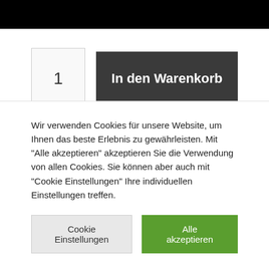[Figure (screenshot): Black header bar at top of page]
1
In den Warenkorb
Kategorie: Feuerwerksbatterien
Wir verwenden Cookies für unsere Website, um Ihnen das beste Erlebnis zu gewährleisten. Mit "Alle akzeptieren" akzeptieren Sie die Verwendung von allen Cookies. Sie können aber auch mit "Cookie Einstellungen" Ihre individuellen Einstellungen treffen.
Cookie Einstellungen
Alle akzeptieren